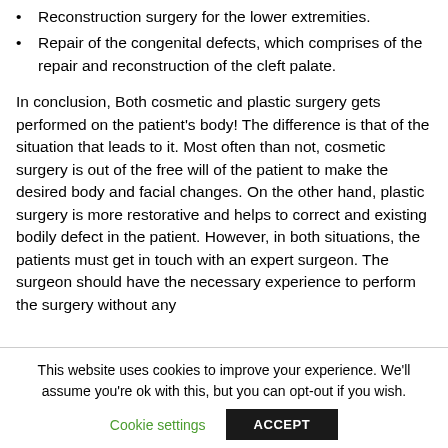Reconstruction surgery for the lower extremities.
Repair of the congenital defects, which comprises of the repair and reconstruction of the cleft palate.
In conclusion, Both cosmetic and plastic surgery gets performed on the patient's body! The difference is that of the situation that leads to it. Most often than not, cosmetic surgery is out of the free will of the patient to make the desired body and facial changes. On the other hand, plastic surgery is more restorative and helps to correct and existing bodily defect in the patient. However, in both situations, the patients must get in touch with an expert surgeon. The surgeon should have the necessary experience to perform the surgery without any
This website uses cookies to improve your experience. We'll assume you're ok with this, but you can opt-out if you wish.
Cookie settings   ACCEPT